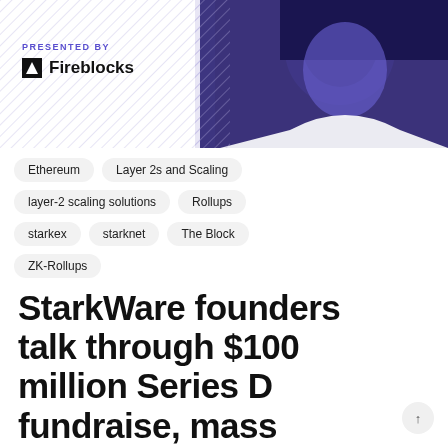[Figure (illustration): Header banner with halftone illustration of a person on the right side and a diagonal hatch pattern background. Purple/dark blue color scheme.]
PRESENTED BY
Fireblocks
Ethereum
Layer 2s and Scaling
layer-2 scaling solutions
Rollups
starkex
starknet
The Block
ZK-Rollups
StarkWare founders talk through $100 million Series D fundraise, mass adoption